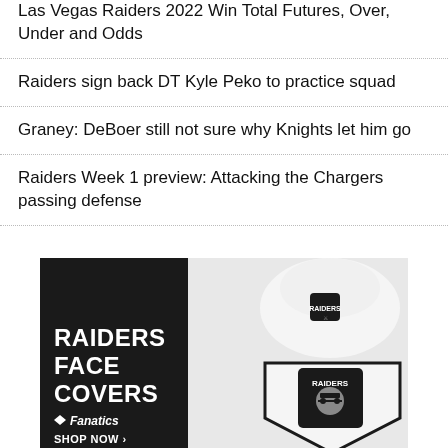Las Vegas Raiders 2022 Win Total Futures, Over, Under and Odds
Raiders sign back DT Kyle Peko to practice squad
Graney: DeBoer still not sure why Knights let him go
Raiders Week 1 preview: Attacking the Chargers passing defense
[Figure (illustration): Advertisement for Raiders Face Covers on Fanatics. Left panel is dark/black with bold white text reading RAIDERS FACE COVERS, Fanatics logo, and SHOP NOW arrow. Right panel shows white Raiders branded face covers/masks with the Raiders shield logo.]